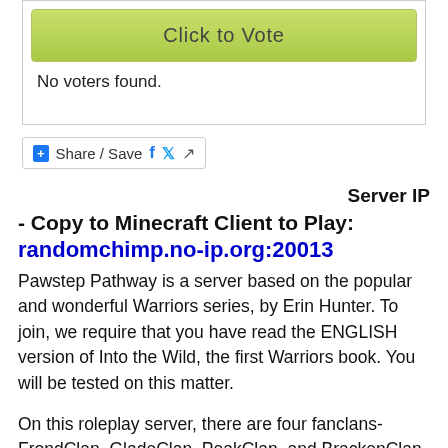[Figure (screenshot): Click to Vote button with light green gradient background]
No voters found.
[Figure (screenshot): Share / Save bar with Facebook, Twitter, and share icons]
Server IP
- Copy to Minecraft Client to Play:
randomchimp.no-ip.org:20013
Pawstep Pathway is a server based on the popular and wonderful Warriors series, by Erin Hunter. To join, we require that you have read the ENGLISH version of Into the Wild, the first Warriors book. You will be tested on this matter.
On this roleplay server, there are four fanclans- FrondClan, GladeClan, PeakClan, and BrackenClan. Each Clan has its own general Clan personality and a